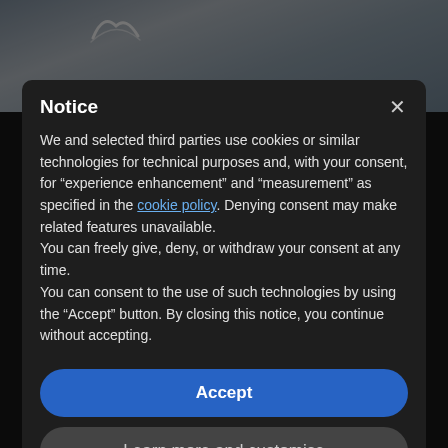[Figure (screenshot): Background photo of a coastal/landscape scene with a logo in the upper left area]
Notice
We and selected third parties use cookies or similar technologies for technical purposes and, with your consent, for “experience enhancement” and “measurement” as specified in the cookie policy. Denying consent may make related features unavailable.
You can freely give, deny, or withdraw your consent at any time.
You can consent to the use of such technologies by using the “Accept” button. By closing this notice, you continue without accepting.
Accept
Learn more and customise